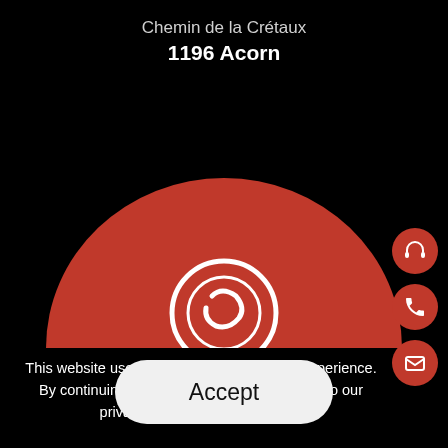Chemin de la Crétaux
1196 Acorn
[Figure (illustration): Red half-circle with white swirl/number design — stylized bowling ball or logo, partially cropped at bottom of arc]
This website uses cookies to improve your experience. By continuing to use this website, you agree to our privacy policy. More information
Accept